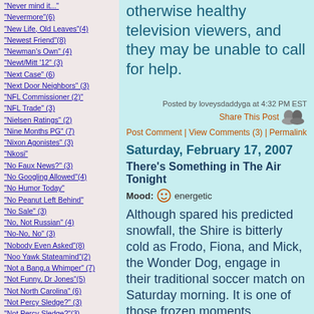"Never mind it..."
"Nevermore"(6)
"New Life, Old Leaves"(4)
"Newest Friend"(8)
"Newman's Own" (4)
"Newt/Mitt '12" (3)
"Next Case" (6)
"Next Door Neighbors" (3)
"NFL Commissioner (2)"
"NFL Trade" (3)
"Nielsen Ratings" (2)
"Nine Months PG" (7)
"Nixon Agonistes" (3)
"Nkosi"
"No Faux News?" (3)
"No Googling Allowed"(4)
"No Humor Today"
"No Peanut Left Behind"
"No Sale" (3)
"No, Not Russian" (4)
"No-No, No" (3)
"Nobody Even Asked"(8)
"Noo Yawk Stateamind"(2)
"Not a Bang,a Whimper" (7)
"Not Funny, Dr Jones"(5)
"Not North Carolina" (6)
"Not Percy Sledge?" (3)
"Not Percy Sledge?"(3)
otherwise healthy television viewers, and they may be unable to call for help.
Posted by loveysdaddyga at 4:32 PM EST
Share This Post
Post Comment | View Comments (3) | Permalink
Saturday, February 17, 2007
There's Something in The Air Tonight
Mood: energetic
Although spared his predicted snowfall, the Shire is bitterly cold as Frodo, Fiona, and Mick, the Wonder Dog, engage in their traditional soccer match on Saturday morning. It is one of those frozen moments, soundless, with no movement except for the red-